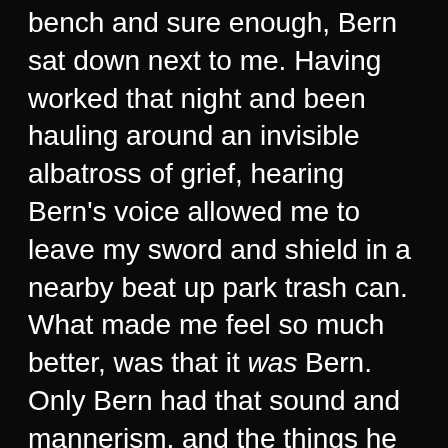bench and sure enough, Bern sat down next to me. Having worked that night and been hauling around an invisible albatross of grief, hearing Bern's voice allowed me to leave my sword and shield in a nearby beat up park trash can. What made me feel so much better, was that it was Bern. Only Bern had that sound and mannerism, and the things he said could only be from him.

After we had talked about the tragic circumstance, Bern moved into his dry humor. He made two comments that forced laughter from deep within-the kind that of laughter that makes your body tremble. The same way we would be in the kitchen. I said I guess it's